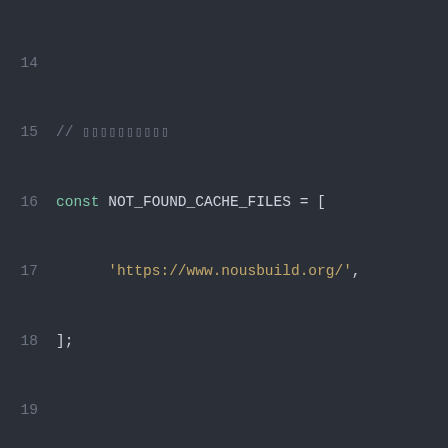[Figure (screenshot): Code editor screenshot showing JavaScript code lines 14-28 with syntax highlighting on a dark background. Lines include comments in Japanese characters, const declarations for NOT_FOUND_CACHE_FILES, OFFLINE_PAGE, NOT_FOUND_PAGE, and a JSDoc comment block.]